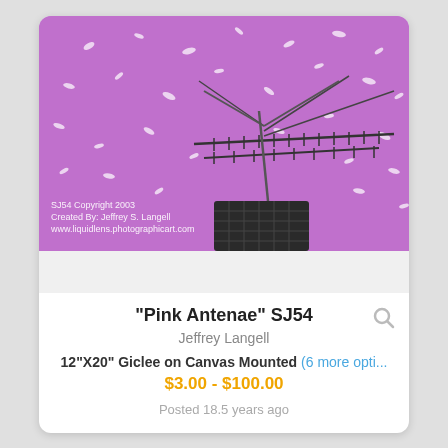[Figure (photo): Photograph of a TV antenna against a purple/pink sky with snow or confetti falling, mounted on a rooftop. Watermark text reads: SJ54 Copyright 2003, Created By: Jeffrey S. Langell, www.liquidlens.photographicart.com]
"Pink Antenae" SJ54
Jeffrey Langell
12"X20" Giclee on Canvas Mounted (6 more opti...
$3.00 - $100.00
Posted 18.5 years ago